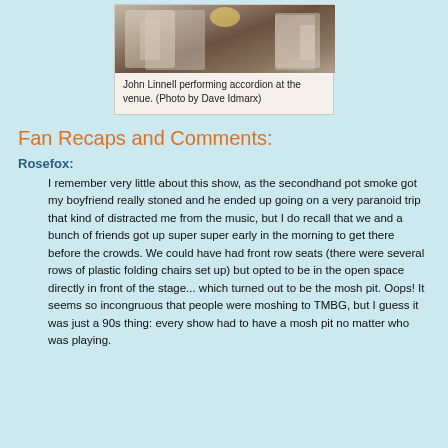[Figure (photo): Photo of John Linnell performing accordion at a venue, showing performers on stage with equipment.]
John Linnell performing accordion at the venue. (Photo by Dave Idmarx)
Fan Recaps and Comments:
Rosefox:
I remember very little about this show, as the secondhand pot smoke got my boyfriend really stoned and he ended up going on a very paranoid trip that kind of distracted me from the music, but I do recall that we and a bunch of friends got up super super early in the morning to get there before the crowds. We could have had front row seats (there were several rows of plastic folding chairs set up) but opted to be in the open space directly in front of the stage... which turned out to be the mosh pit. Oops! It seems so incongruous that people were moshing to TMBG, but I guess it was just a 90s thing: every show had to have a mosh pit no matter who was playing.